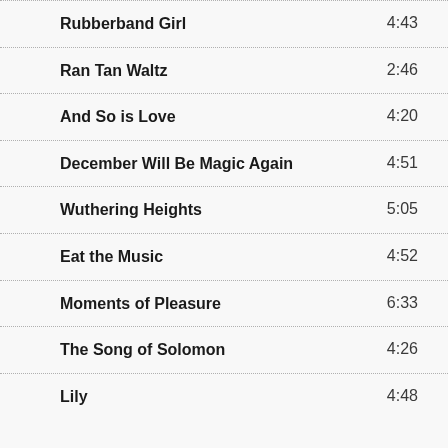Rubberband Girl  4:43
Ran Tan Waltz  2:46
And So is Love  4:20
December Will Be Magic Again  4:51
Wuthering Heights  5:05
Eat the Music  4:52
Moments of Pleasure  6:33
The Song of Solomon  4:26
Lily  4:48